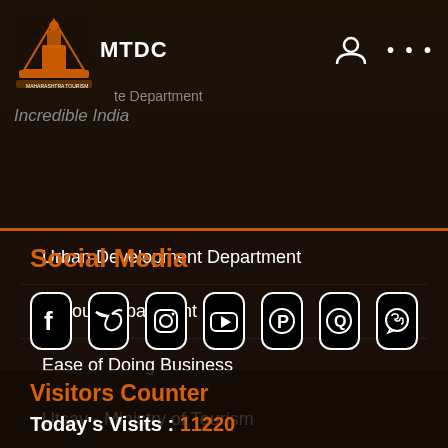MTDC
te Department
Incredible India
Urban Development Department
Labour Department
Ease of Doing Business
Utsav - Ministry of Tourism
Social Media
[Figure (infographic): Social media icons: Facebook, Twitter, Instagram, YouTube, Pinterest, Quora, WhatsApp]
Visitors Counter
Today's Visits : 11220